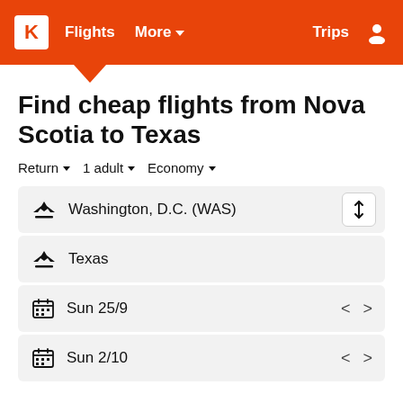K  Flights  More  Trips
Find cheap flights from Nova Scotia to Texas
Return  1 adult  Economy
Washington, D.C. (WAS)
Texas
Sun 25/9
Sun 2/10